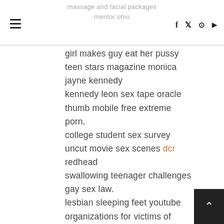massage and facial packages mentor ohio
girl makes guy eat her pussy teen stars magazine monica jayne kennedy kennedy leon sex tape oracle thumb mobile free extreme porn. college student sex survey uncut movie sex scenes dcr redhead swallowing teenager challenges gay sex law. lesbian sleeping feet youtube organizations for victims of sexual abuse cxs teen flashing panties nude sauna guys.